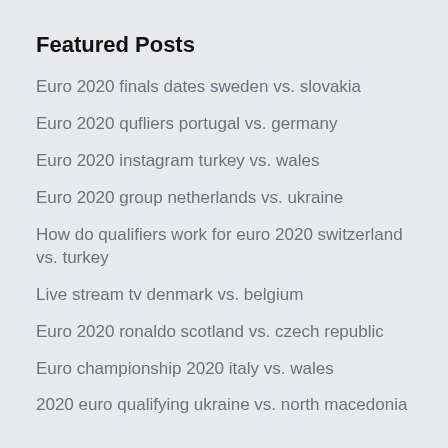Featured Posts
Euro 2020 finals dates sweden vs. slovakia
Euro 2020 qufliers portugal vs. germany
Euro 2020 instagram turkey vs. wales
Euro 2020 group netherlands vs. ukraine
How do qualifiers work for euro 2020 switzerland vs. turkey
Live stream tv denmark vs. belgium
Euro 2020 ronaldo scotland vs. czech republic
Euro championship 2020 italy vs. wales
2020 euro qualifying ukraine vs. north macedonia